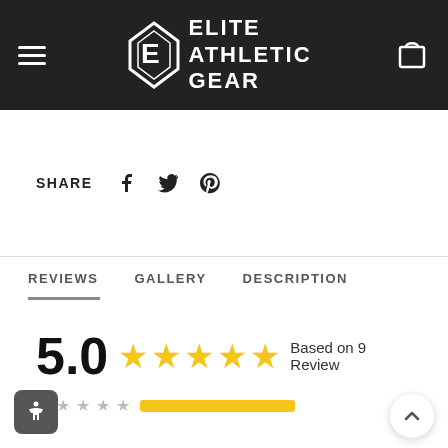Elite Athletic Gear
SHARE
REVIEWS  GALLERY  DESCRIPTION
5.0  ★★★★★  Based on 9 Reviews